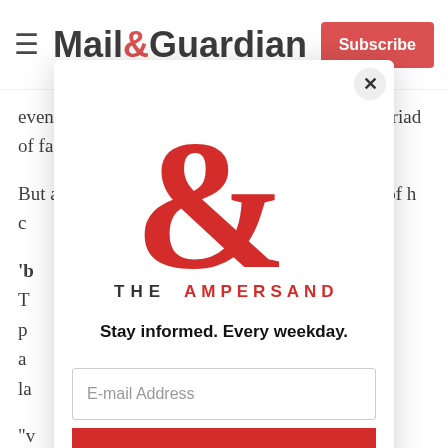Mail&Guardian — Subscribe
events at Marikana would be looking into the myriad of factors that led to the violence.
But authorities identified the particular problem of h... c...
'b... T... p... a... la...
"v... b... t...
[Figure (screenshot): Mail & Guardian newsletter subscription modal overlay. Contains The Ampersand logo (large red ampersand with 'THE AMPERSAND' text), tagline 'Stay informed. Every weekday.', an email address input field, and a red 'Signup now' button. A close (X) button is in the top right corner of the modal.]